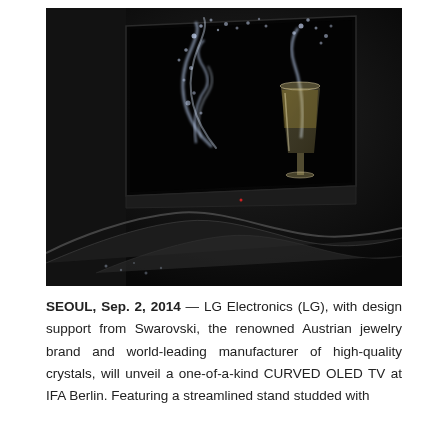[Figure (photo): A curved LG OLED TV displayed against a dark background, showing a champagne glass with liquid splash on its screen. The TV has a sleek black curved stand at the bottom.]
SEOUL, Sep. 2, 2014 — LG Electronics (LG), with design support from Swarovski, the renowned Austrian jewelry brand and world-leading manufacturer of high-quality crystals, will unveil a one-of-a-kind CURVED OLED TV at IFA Berlin. Featuring a streamlined stand studded with